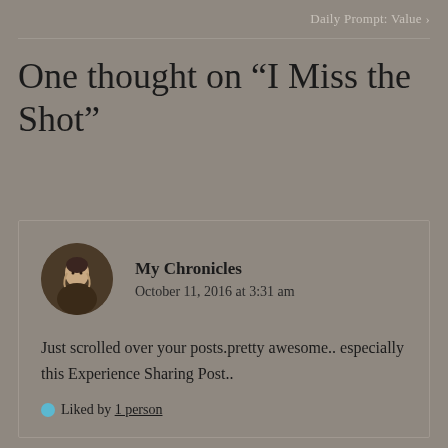Daily Prompt: Value ›
One thought on “I Miss the Shot”
My Chronicles
October 11, 2016 at 3:31 am
Just scrolled over your posts.pretty awesome.. especially this Experience Sharing Post..
Liked by 1 person